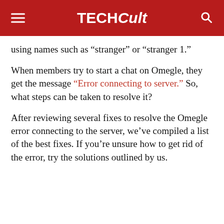TECHCult
using names such as “stranger” or “stranger 1.”
When members try to start a chat on Omegle, they get the message “Error connecting to server.” So, what steps can be taken to resolve it?
After reviewing several fixes to resolve the Omegle error connecting to the server, we’ve compiled a list of the best fixes. If you’re unsure how to get rid of the error, try the solutions outlined by us.